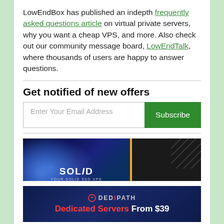LowEndBox has published an indepth frequently asked questions article on virtual private servers, why you want a cheap VPS, and more. Also check out our community message board, LowEndTalk, where thousands of users are happy to answer questions.
Get notified of new offers
[Figure (screenshot): Email subscription form with text input 'Enter Your Email Address' and a green 'Subscribe' button]
[Figure (illustration): SOLiD VPS advertising banner with globe imagery on dark blue background and orange divider]
[Figure (illustration): DediPath banner on dark blue background with logo and text 'Dedicated Servers From $39']